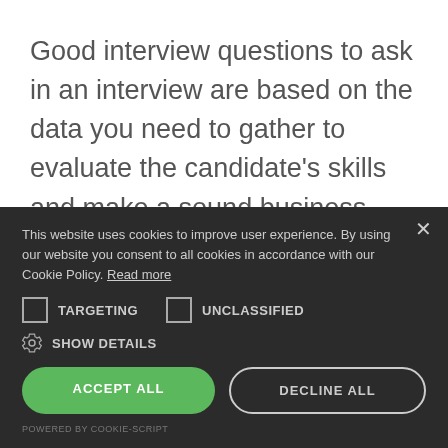Good interview questions to ask in an interview are based on the data you need to gather to evaluate the candidate's skills and make a sound business decision. If your instinct is driving your hiring decisions, you always ask typical interview questions, and you are not
This website uses cookies to improve user experience. By using our website you consent to all cookies in accordance with our Cookie Policy. Read more
TARGETING   UNCLASSIFIED
SHOW DETAILS
ACCEPT ALL
DECLINE ALL
POWERED BY COOKIE-SCRIPT